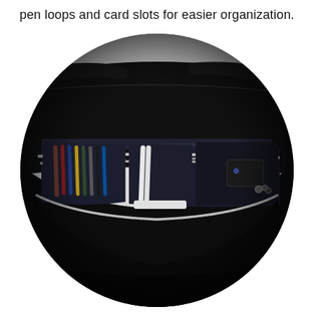pen loops and card slots for easier organization.
[Figure (photo): Circular cropped photo showing the interior of an open black nylon bag/case with a silver zipper. Inside the bag are colored pens/markers arranged in pen loops on the left side, two white pens/styluses in loops, a white flat card or device in the center, and a small device with keys on the right side. The bag interior is dark navy/black.]